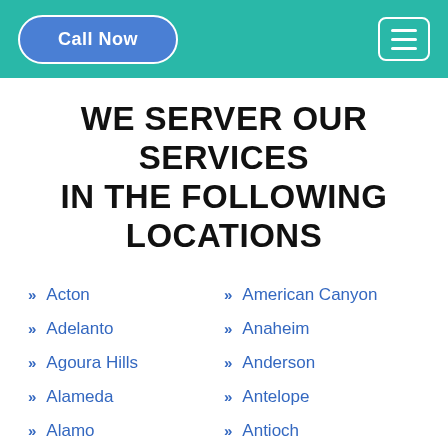Call Now | Menu
WE SERVER OUR SERVICES IN THE FOLLOWING LOCATIONS
Acton
American Canyon
Adelanto
Anaheim
Agoura Hills
Anderson
Alameda
Antelope
Alamo
Antioch
Albany
Apple Valley
Alhambra
Arcadia
Aliso Viejo
Arcata